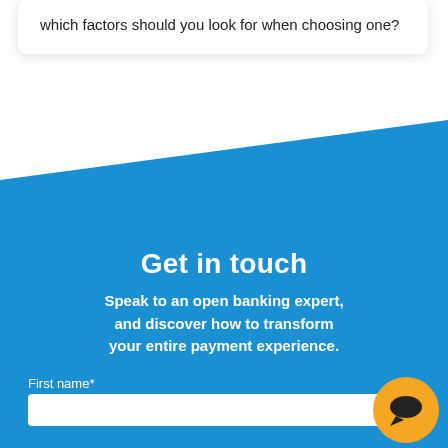which factors should you look for when choosing one?
[Figure (illustration): Blue diagonal banner background with 'Get in touch' section]
Get in touch
Speak to an open banking expert, and discover how to transform your entire payment experience.
First name*
[Figure (illustration): Yellow circular chat bubble icon in bottom right corner]